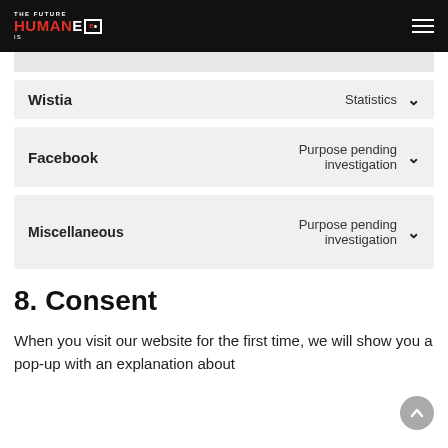The Future is Humane
Wistia — Statistics
Facebook — Purpose pending investigation
Miscellaneous — Purpose pending investigation
8. Consent
When you visit our website for the first time, we will show you a pop-up with an explanation about